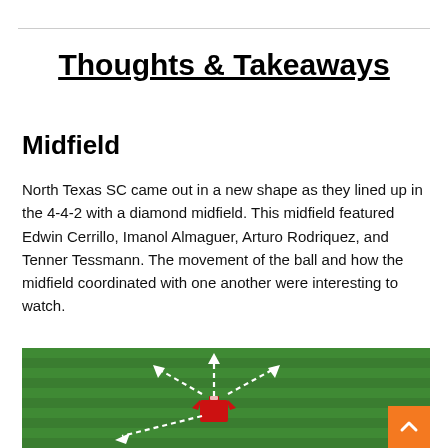Thoughts & Takeaways
Midfield
North Texas SC came out in a new shape as they lined up in the 4-4-2 with a diamond midfield. This midfield featured Edwin Cerrillo, Imanol Almaguer, Arturo Rodriquez, and Tenner Tessmann. The movement of the ball and how the midfield coordinated with one another were interesting to watch.
[Figure (illustration): Soccer/football tactical diagram on a green grass field showing a player in a red jersey with dashed arrow lines indicating passing directions: up-center, upper-left, upper-right, and lower-left, with arrow-head markers on each dashed line.]